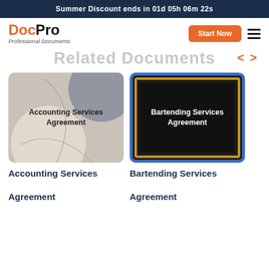Summer Discount ends in 01d 05h 06m 22s
[Figure (logo): DocPro Professional Documents logo]
Related Documents
[Figure (illustration): Accounting Services Agreement document thumbnail - grey/beige abstract shapes]
[Figure (illustration): Bartending Services Agreement document thumbnail - black with blue and gold border]
Accounting Services Agreement
Bartending Services Agreement